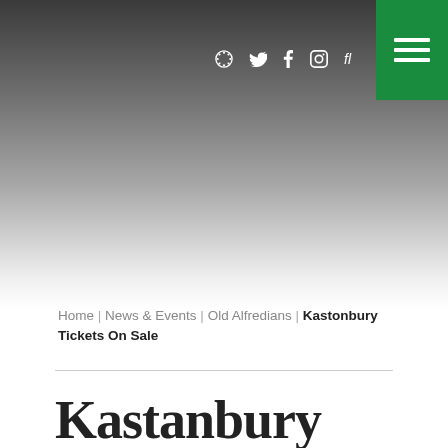[Figure (screenshot): Hero banner with dark-to-light grey gradient background, social media icons (globe, Twitter, Facebook, Instagram, Flickr) in white, and a green hamburger menu button in the top-right corner.]
Home | News & Events | Old Alfredians | Kastonbury Tickets On Sale
Kastonbury Tick...